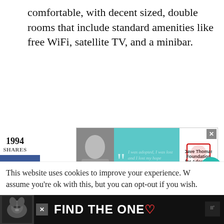comfortable, with decent sized, double rooms that include standard amenities like free WiFi, satellite TV, and a minibar.
[Figure (screenshot): Advertisement banner for Dave Thomas Foundation for Adoption with a young woman photo and quote text on teal background]
1994 SHARES
[Figure (infographic): Social share bar with Facebook, Twitter, Pinterest (1994), LinkedIn buttons]
[Figure (infographic): Heart favorite button showing 2K count and share icon button]
This website uses cookies to improve your experience. We'll assume you're ok with this, but you can opt-out if you wish.
[Figure (screenshot): Bottom advertisement banner with dog photo and text FIND THE ONE on black background]